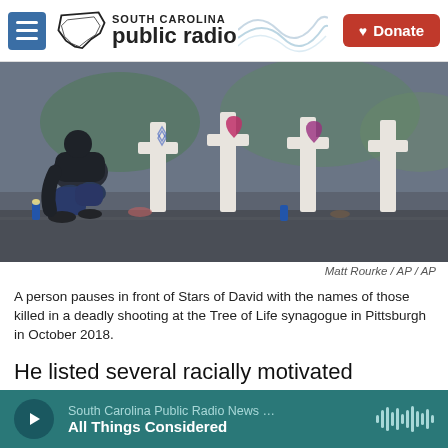South Carolina Public Radio
[Figure (photo): A person squatting in front of white memorial crosses with Stars of David and heart-shaped decorations at a memorial site, with flowers and candles visible]
Matt Rourke / AP / AP
A person pauses in front of Stars of David with the names of those killed in a deadly shooting at the Tree of Life synagogue in Pittsburgh in October 2018.
He listed several racially motivated attacks: nine people killed at a South Carolina church in 2015; 11 at a synagogue in Pennsylvania in 2018; 50 people
South Carolina Public Radio News … All Things Considered